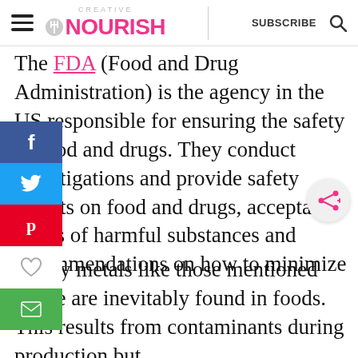Creative Nourish — SUBSCRIBE
The FDA (Food and Drug Administration) is the agency in the US responsible for ensuring the safety of food and drugs. They conduct investigations and provide safety reports on food and drugs, acceptable levels of harmful substances and recommendations on how to minimize risks.
Heavy metals like those mentioned above are inevitably found in foods. This results from contaminants during production but